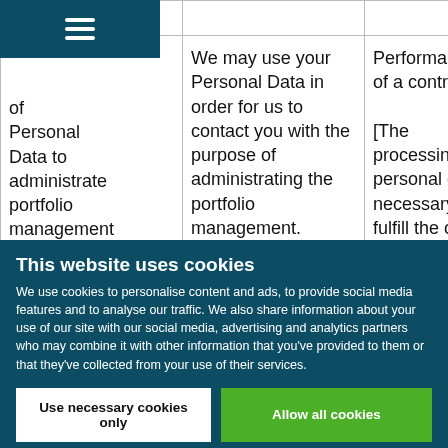| [type] of Personal Data | Purpose | Legal Basis |
| --- | --- | --- |
| of Personal Data to administrate portfolio management | We may use your Personal Data in order for us to contact you with the purpose of administrating the portfolio management. | Performance of a contract

[The processing of personal data is necessary to fulfill the our agreement |
This website uses cookies
We use cookies to personalise content and ads, to provide social media features and to analyse our traffic. We also share information about your use of our site with our social media, advertising and analytics partners who may combine it with other information that you've provided to them or that they've collected from your use of their services.
Use necessary cookies only | Allow all cookies | Show details